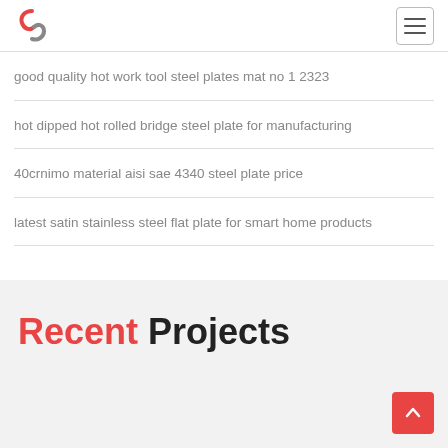good quality hot work tool steel plates mat no 1 2323
hot dipped hot rolled bridge steel plate for manufacturing
40crnimo material aisi sae 4340 steel plate price
latest satin stainless steel flat plate for smart home products
Recent Projects